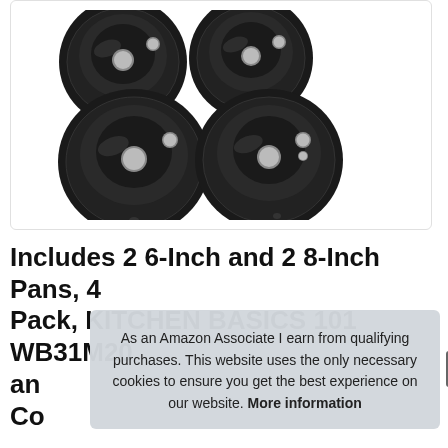[Figure (photo): Product photo showing four black drip pans arranged in a 2x2 grid — two smaller 6-inch pans on top and two larger 8-inch pans on bottom, all circular with center holes, on a white background inside a rounded-corner box.]
Includes 2 6-Inch and 2 8-Inch Pans, 4 Pack, KITCHEN BASICS 101 WB31M20 and...
As an Amazon Associate I earn from qualifying purchases. This website uses the only necessary cookies to ensure you get the best experience on our website. More information